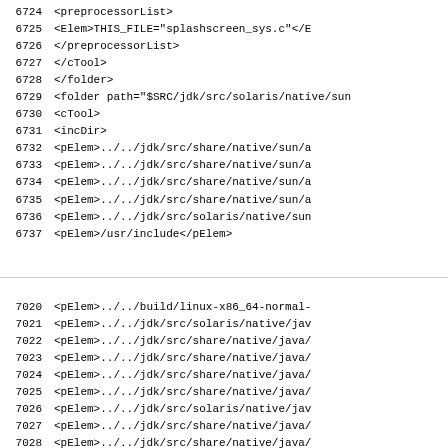6724    <preprocessorList>
6725      <Elem>THIS_FILE="splashscreen_sys.c"</E
6726    </preprocessorList>
6727  </cTool>
6728  </folder>
6729  <folder path="$SRC/jdk/src/solaris/native/sun
6730    <cTool>
6731      <incDir>
6732        <pElem>../../jdk/src/share/native/sun/a
6733        <pElem>../../jdk/src/share/native/sun/a
6734        <pElem>../../jdk/src/share/native/sun/a
6735        <pElem>../../jdk/src/share/native/sun/a
6736        <pElem>../../jdk/src/solaris/native/sun
6737        <pElem>/usr/include</pElem>
7020    <pElem>../../build/linux-x86_64-normal-
7021    <pElem>../../jdk/src/solaris/native/jav
7022    <pElem>../../jdk/src/share/native/java/
7023    <pElem>../../jdk/src/share/native/java/
7024    <pElem>../../jdk/src/share/native/java/
7025    <pElem>../../jdk/src/share/native/java/
7026    <pElem>../../jdk/src/solaris/native/jav
7027    <pElem>../../jdk/src/share/native/java/
7028    <pElem>../../jdk/src/share/native/java/
7029    <pElem>../../jdk/src/share/native/sun/m
7030    <pElem>../../jdk/src/share/native/sun/r
7031    <pElem>../../jdk/src/share/native/java/
7032    <pElem>../../jdk/src/share/native/java